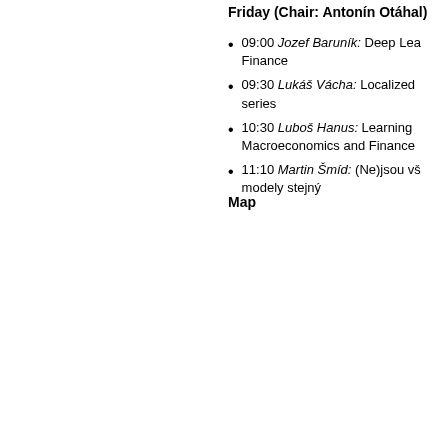Friday (Chair: Antonín Otáhal)
09:00 Jozef Baruník: Deep Lea Finance
09:30 Lukáš Vácha: Localized series
10:30 Luboš Hanus: Learning Macroeconomics and Finance
11:10 Martin Šmíd: (Ne)jsou vš modely stejný
Map